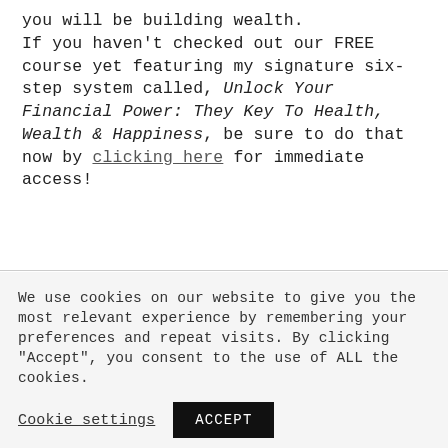you will be building wealth.

If you haven't checked out our FREE course yet featuring my signature six-step system called, Unlock Your Financial Power: They Key To Health, Wealth & Happiness, be sure to do that now by clicking here for immediate access!
We use cookies on our website to give you the most relevant experience by remembering your preferences and repeat visits. By clicking "Accept", you consent to the use of ALL the cookies.
Cookie settings  ACCEPT